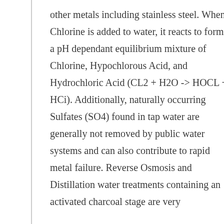other metals including stainless steel. When Chlorine is added to water, it reacts to form a pH dependant equilibrium mixture of Chlorine, Hypochlorous Acid, and Hydrochloric Acid (CL2 + H2O -> HOCL + HCi). Additionally, naturally occurring Sulfates (SO4) found in tap water are generally not removed by public water systems and can also contribute to rapid metal failure. Reverse Osmosis and Distillation water treatments containing an activated charcoal stage are very